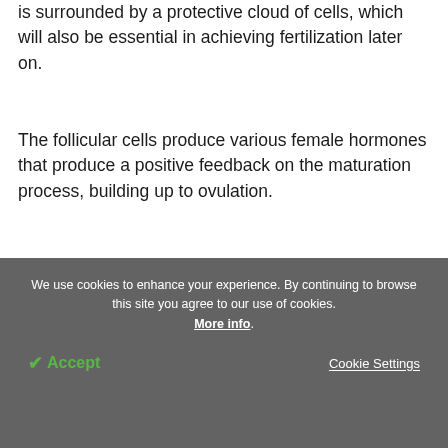is surrounded by a protective cloud of cells, which will also be essential in achieving fertilization later on.
The follicular cells produce various female hormones that produce a positive feedback on the maturation process, building up to ovulation.
[Figure (other): Green advertisement banner with close (X) button in top right corner, containing faded text lines on a mint/green background.]
We use cookies to enhance your experience. By continuing to browse this site you agree to our use of cookies. More info.
✔ Accept   Cookie Settings